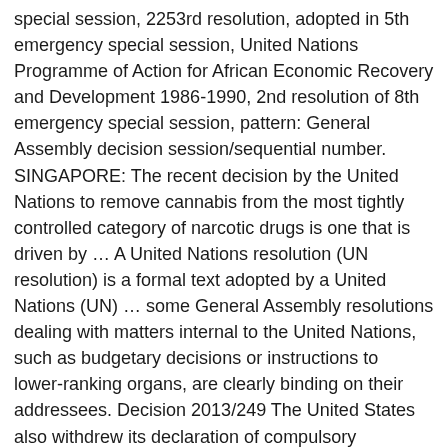special session, 2253rd resolution, adopted in 5th emergency special session, United Nations Programme of Action for African Economic Recovery and Development 1986-1990, 2nd resolution of 8th emergency special session, pattern: General Assembly decision session/sequential number. SINGAPORE: The recent decision by the United Nations to remove cannabis from the most tightly controlled category of narcotic drugs is one that is driven by ... A United Nations resolution (UN resolution) is a formal text adopted by a United Nations (UN) ... some General Assembly resolutions dealing with matters internal to the United Nations, such as budgetary decisions or instructions to lower-ranking organs, are clearly binding on their addressees. Decision 2013/249 The United States also withdrew its declaration of compulsory jurisdiction and blocked Nicaragua's appeal to the UN Security Council. A sixth principal organ, the Trusteeship Council, suspended operations on 1 November 1994, upon the independence of Palau, the last remaining UN trustee territory. The UN system is based on five principal organs: the General Assembly, the Security Council, the Economic and Social Council